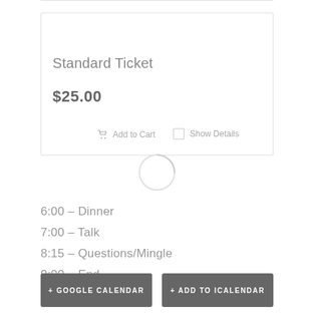Standard Ticket
$25.00
Add to Cart
Show Details
6:00 – Dinner
7:00 – Talk
8:15 – Questions/Mingle
9:00 – End
+ GOOGLE CALENDAR
+ ADD TO ICALENDAR